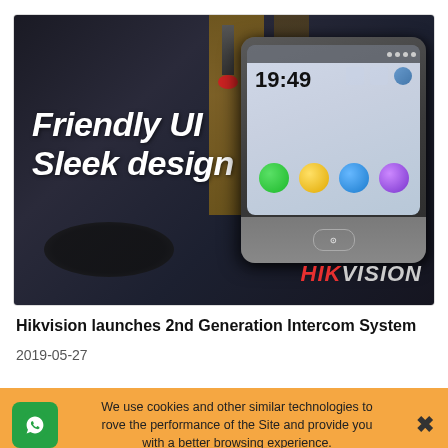[Figure (photo): Hikvision product promotional image showing a smart home intercom device with a touchscreen displaying time 19:49 and app icons. Text overlay reads 'Friendly UI Sleek design'. Hikvision logo in bottom right. Dark home interior background.]
Hikvision launches 2nd Generation Intercom System
2019-05-27
We use cookies and other similar technologies to improve the performance of the Site and provide you with a better browsing experience.